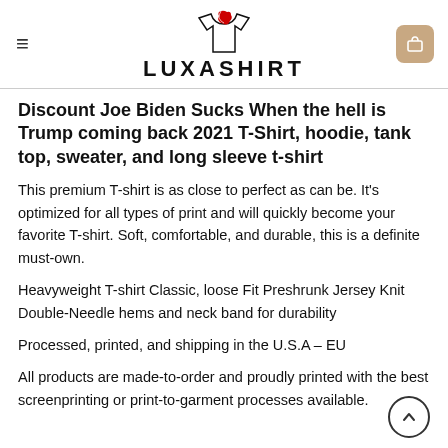LUXASHIRT
Discount Joe Biden Sucks When the hell is Trump coming back 2021 T-Shirt, hoodie, tank top, sweater, and long sleeve t-shirt
This premium T-shirt is as close to perfect as can be. It’s optimized for all types of print and will quickly become your favorite T-shirt. Soft, comfortable, and durable, this is a definite must-own.
Heavyweight T-shirt Classic, loose Fit Preshrunk Jersey Knit Double-Needle hems and neck band for durability
Processed, printed, and shipping in the U.S.A – EU
All products are made-to-order and proudly printed with the best screenprinting or print-to-garment processes available.